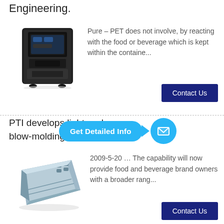Engineering.
[Figure (photo): Black espresso/coffee machine with touchscreen display]
Pure – PET does not involve, by reacting with the food or beverage which is kept within the containe...
Contact Us
PTI develops lightw... b blow-molding ...
[Figure (infographic): Get Detailed Info button with mail icon overlay]
[Figure (photo): Grey plastic blow-molded tray/panel component]
2009-5-20 … The capability will now provide food and beverage brand owners with a broader rang...
Contact Us